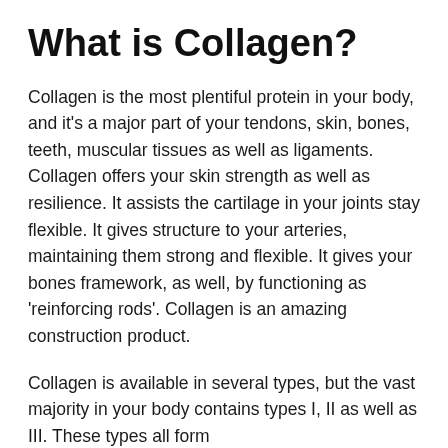What is Collagen?
Collagen is the most plentiful protein in your body, and it's a major part of your tendons, skin, bones, teeth, muscular tissues as well as ligaments. Collagen offers your skin strength as well as resilience. It assists the cartilage in your joints stay flexible. It gives structure to your arteries, maintaining them strong and flexible. It gives your bones framework, as well, by functioning as 'reinforcing rods'. Collagen is an amazing construction product.
Collagen is available in several types, but the vast majority in your body contains types I, II as well as III. These types all form